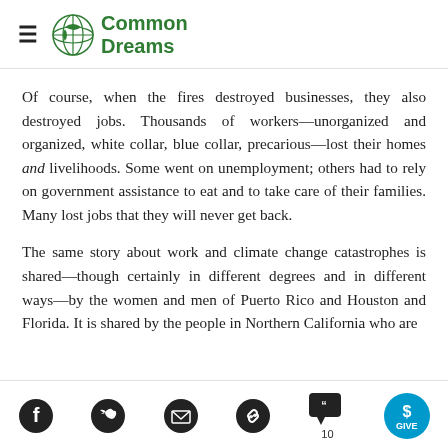Common Dreams
Of course, when the fires destroyed businesses, they also destroyed jobs. Thousands of workers—unorganized and organized, white collar, blue collar, precarious—lost their homes and livelihoods. Some went on unemployment; others had to rely on government assistance to eat and to take care of their families. Many lost jobs that they will never get back.
The same story about work and climate change catastrophes is shared—though certainly in different degrees and in different ways—by the women and men of Puerto Rico and Houston and Florida. It is shared by the people in Northern California who are
Social share icons: Facebook, Twitter, Email, Link, Comments (10), GIVE